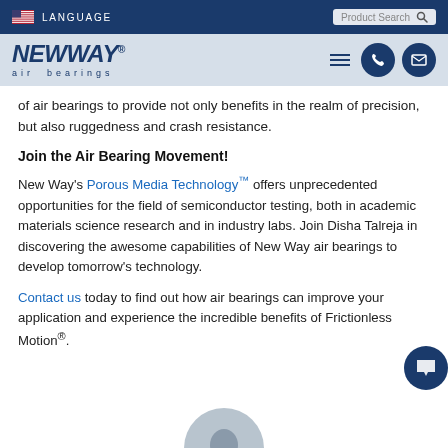LANGUAGE | Product Search
[Figure (logo): New Way air bearings logo in dark blue italic text with registered trademark symbol]
of air bearings to provide not only benefits in the realm of precision, but also ruggedness and crash resistance.
Join the Air Bearing Movement!
New Way's Porous Media Technology™ offers unprecedented opportunities for the field of semiconductor testing, both in academic materials science research and in industry labs. Join Disha Talreja in discovering the awesome capabilities of New Way air bearings to develop tomorrow's technology.
Contact us today to find out how air bearings can improve your application and experience the incredible benefits of Frictionless Motion®.
[Figure (photo): Partial portrait photo of a person, cropped at bottom of page]